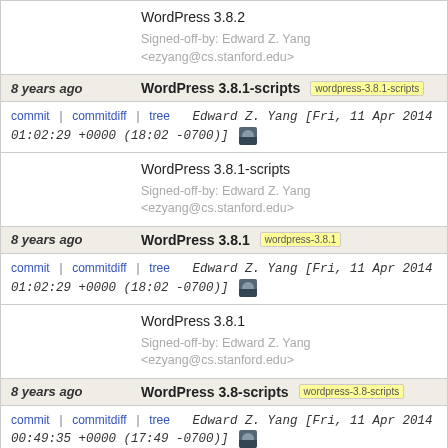WordPress 3.8.2
Signed-off-by: Edward Z. Yang <ezyang@cs.stanford.edu>
8 years ago  WordPress 3.8.1-scripts  [wordpress-3.8.1-scripts]
commit | commitdiff | tree  Edward Z. Yang [Fri, 11 Apr 2014 01:02:29 +0000 (18:02 -0700)]
WordPress 3.8.1-scripts
Signed-off-by: Edward Z. Yang <ezyang@cs.stanford.edu>
8 years ago  WordPress 3.8.1  [wordpress-3.8.1]
commit | commitdiff | tree  Edward Z. Yang [Fri, 11 Apr 2014 01:02:29 +0000 (18:02 -0700)]
WordPress 3.8.1
Signed-off-by: Edward Z. Yang <ezyang@cs.stanford.edu>
8 years ago  WordPress 3.8-scripts  [wordpress-3.8-scripts]
commit | commitdiff | tree  Edward Z. Yang [Fri, 11 Apr 2014 00:49:35 +0000 (17:49 -0700)]